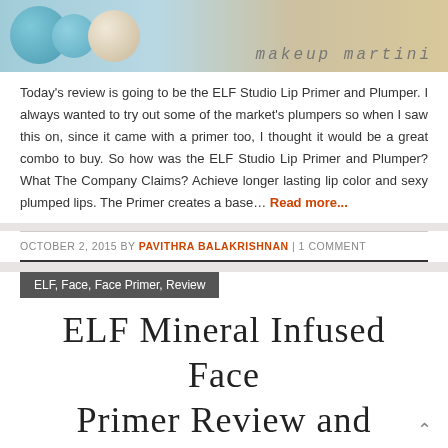[Figure (photo): Header image with blue and pearl/beige spheres/orbs on a light background, with 'makeup martini' text in cursive style on the right side]
Today's review is going to be the ELF Studio Lip Primer and Plumper. I always wanted to try out some of the market's plumpers so when I saw this on, since it came with a primer too, I thought it would be a great combo to buy. So how was the ELF Studio Lip Primer and Plumper? What The Company Claims? Achieve longer lasting lip color and sexy plumped lips. The Primer creates a base… Read more...
OCTOBER 2, 2015 BY PAVITHRA BALAKRISHNAN | 1 COMMENT
ELF, Face, Face Primer, Review
ELF Mineral Infused Face Primer Review and Swatches